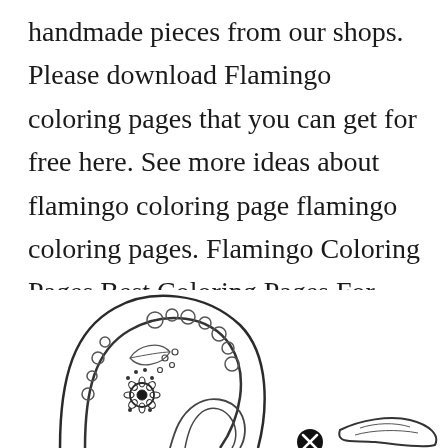handmade pieces from our shops. Please download Flamingo coloring pages that you can get for free here. See more ideas about flamingo coloring page flamingo coloring pages. Flamingo Coloring Pages Best Coloring Pages For Kids Flamingo Coloring Page Bird Coloring Pages Coloring Pages.
[Figure (illustration): Partial view of a decorative flamingo coloring page illustration showing a flamingo with intricate floral and geometric patterns, in black and white line art style. A close button (X in circle) is visible at the bottom center.]